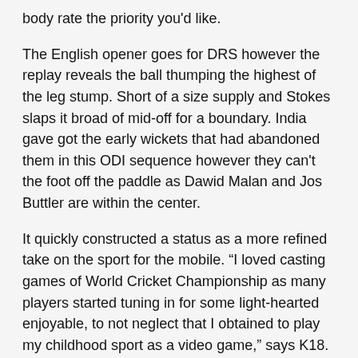body rate the priority you'd like.
The English opener goes for DRS however the replay reveals the ball thumping the highest of the leg stump. Short of a size supply and Stokes slaps it broad of mid-off for a boundary. India gave got the early wickets that had abandoned them in this ODI sequence however they can't the foot off the paddle as Dawid Malan and Jos Buttler are within the center.
It quickly constructed a status as a more refined take on the sport for the mobile. “I loved casting games of World Cricket Championship as many players started tuning in for some light-hearted enjoyable, to not neglect that I obtained to play my childhood sport as a video game,” says K18. Quite a few casual games helped set up cell gaming in India, and Candy Crush Saga is among the most iconic one of those.